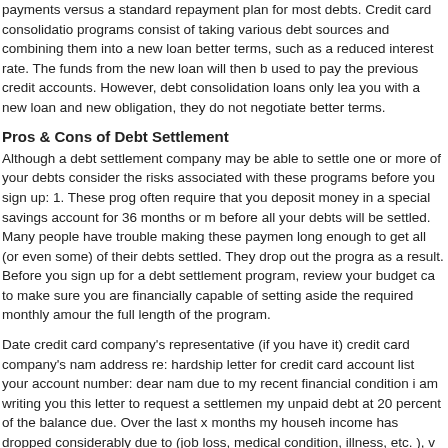payments versus a standard repayment plan for most debts. Credit card consolidation programs consist of taking various debt sources and combining them into a new loan with better terms, such as a reduced interest rate. The funds from the new loan will then be used to pay the previous credit accounts. However, debt consolidation loans only leave you with a new loan and new obligation, they do not negotiate better terms.
Pros & Cons of Debt Settlement
Although a debt settlement company may be able to settle one or more of your debts, consider the risks associated with these programs before you sign up: 1. These programs often require that you deposit money in a special savings account for 36 months or more before all your debts will be settled. Many people have trouble making these payments long enough to get all (or even some) of their debts settled. They drop out the programs as a result. Before you sign up for a debt settlement program, review your budget carefully to make sure you are financially capable of setting aside the required monthly amount for the full length of the program.
Date credit card company's representative (if you have it) credit card company's name address re: hardship letter for credit card account list your account number: dear name, due to my recent financial condition i am writing you this letter to request a settlement of my unpaid debt at 20 percent of the balance due. Over the last x months my household income has dropped considerably due to (job loss, medical condition, illness, etc. ), which has made it impossible for me to continue to make my full monthly payments. Please find the proof of my hardship below/attached.